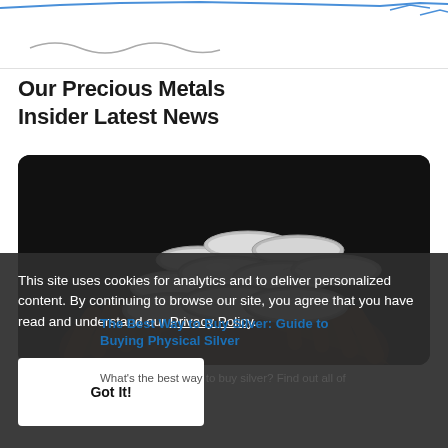[Figure (continuous-plot): Partial price chart strip at top of page showing blue line chart and wavy gray line below, cropped]
Our Precious Metals Insider Latest News
[Figure (photo): Hands holding a pile of silver coins against a dark background]
The Best Way to Buy Silver: Guide to Buying Physical Silver
What's the best way to buy silver? Find out all of
This site uses cookies for analytics and to deliver personalized content. By continuing to browse our site, you agree that you have read and understand our Privacy Policy.
Got It!